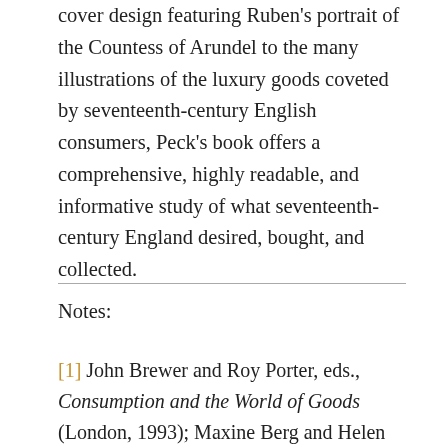cover design featuring Ruben's portrait of the Countess of Arundel to the many illustrations of the luxury goods coveted by seventeenth-century English consumers, Peck's book offers a comprehensive, highly readable, and informative study of what seventeenth-century England desired, bought, and collected.
Notes:
[1] John Brewer and Roy Porter, eds., Consumption and the World of Goods (London, 1993); Maxine Berg and Helen Clifford, eds., Consumers and Luxury: Consumer Culture in Europe, 1650–1850 (Manchester, 1999); Maxine Berg and Elizabeth Eger, Luxury in the Eighteenth Century: Debates, Desires and Delectable